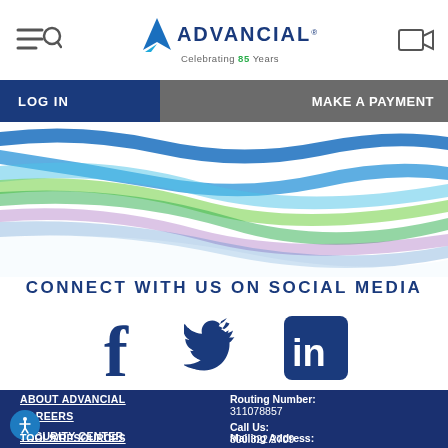Advancial — Celebrating 85 Years | LOG IN | MAKE A PAYMENT
[Figure (illustration): Advancial Credit Union logo with blue arrow icon and tagline 'Celebrating 85 Years'. Navigation bar with LOG IN (blue) and MAKE A PAYMENT (grey) buttons. Colorful diagonal wave swoosh banner in blue, green, purple tones.]
CONNECT WITH US ON SOCIAL MEDIA
[Figure (infographic): Three social media icons: Facebook (f), Twitter (bird), LinkedIn (in box), all in dark navy blue.]
ABOUT ADVANCIAL
CAREERS
SECURITY CENTER
TOOLS/RESOURCES
Routing Number: 311078857
Call Us: 800.322.2709
Mailing Address: